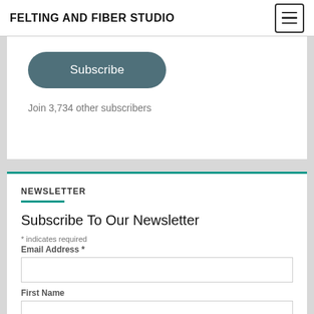FELTING AND FIBER STUDIO
Subscribe
Join 3,734 other subscribers
NEWSLETTER
Subscribe To Our Newsletter
* indicates required
Email Address *
First Name